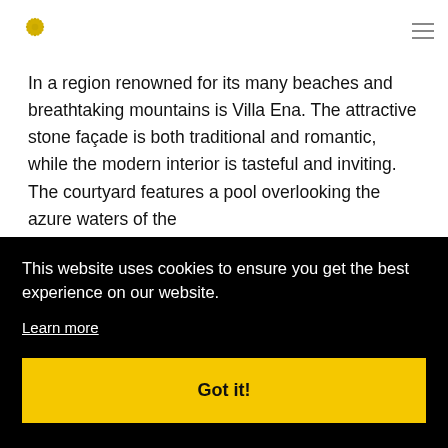[Figure (logo): Golden/yellow flower-like logo mark with multiple petal shapes]
In a region renowned for its many beaches and breathtaking mountains is Villa Ena. The attractive stone façade is both traditional and romantic, while the modern interior is tasteful and inviting. The courtyard features a pool overlooking the azure waters of the
This website uses cookies to ensure you get the best experience on our website.
Learn more
Got it!